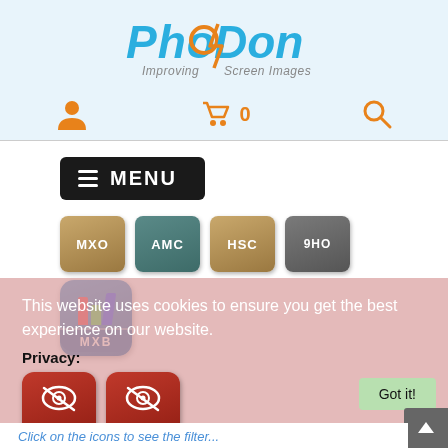[Figure (logo): PhotoDon logo — stylized script text 'PhotoDon' in blue with orange circle, tagline 'Improving Screen Images' in gray]
[Figure (screenshot): Navigation icons: user account (person icon), shopping cart with '0', and search magnifying glass — all in orange]
[Figure (screenshot): Dark hamburger MENU button]
[Figure (screenshot): Four product filter icons in a row: MXO (tan/gold), AMC (teal), HSC (tan/gold), 9HO (gray)]
[Figure (screenshot): MXB product icon — blue rounded square with red, green, blue bar chart and 'MXB' label]
This website uses cookies to ensure you get the best experience on our website.
Privacy:
[Figure (screenshot): Two privacy-related product icons: P2L 2-WAY and P2S 2-WAY-S (red rounded squares with eye/privacy icons); a green 'Got it!' button to the right]
Click on the icons to see the filter...